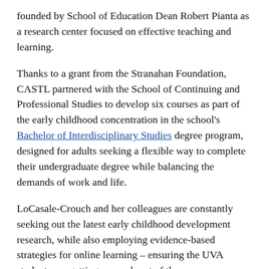founded by School of Education Dean Robert Pianta as a research center focused on effective teaching and learning.
Thanks to a grant from the Stranahan Foundation, CASTL partnered with the School of Continuing and Professional Studies to develop six courses as part of the early childhood concentration in the school's Bachelor of Interdisciplinary Studies degree program, designed for adults seeking a flexible way to complete their undergraduate degree while balancing the demands of work and life.
LoCasale-Crouch and her colleagues are constantly seeking out the latest early childhood development research, while also employing evidence-based strategies for online learning – ensuring the UVA students are getting as much out of the courses as possible and making their own contributions to the field.
“We use the things we are learning in the field to inform our courses, and we also take things from our courses into the